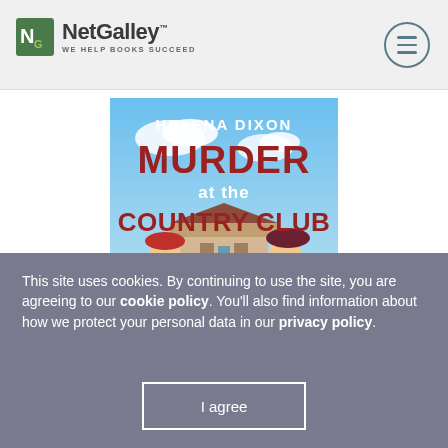NetGalley — WE HELP BOOKS SUCCEED
[Figure (illustration): Book cover for 'Murder at the Country Club' by Helena Dixon. Shows the title in large red letters on a sky-blue background with two women in 1930s attire wearing red hats, and a country house in the background.]
This site uses cookies. By continuing to use the site, you are agreeing to our cookie policy. You'll also find information about how we protect your personal data in our privacy policy.
I agree